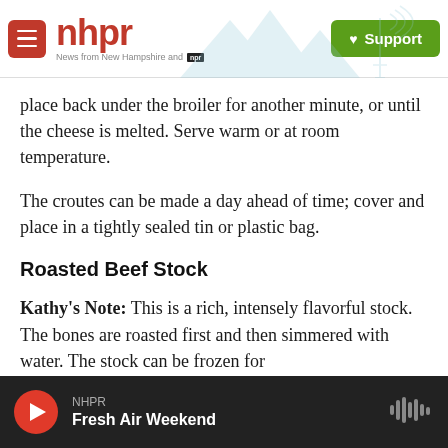[Figure (logo): NHPR website header with hamburger menu, NHPR logo in red, mountain landscape silhouette, and green Support button]
place back under the broiler for another minute, or until the cheese is melted. Serve warm or at room temperature.
The croutes can be made a day ahead of time; cover and place in a tightly sealed tin or plastic bag.
Roasted Beef Stock
Kathy's Note: This is a rich, intensely flavorful stock. The bones are roasted first and then simmered with water. The stock can be frozen for
NHPR — Fresh Air Weekend